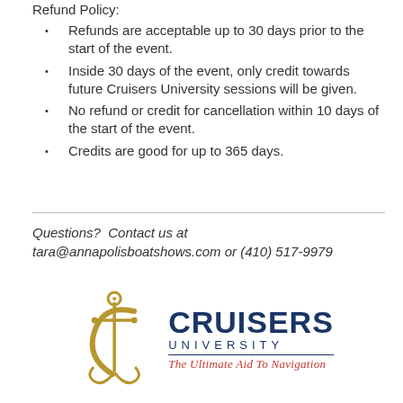Refund Policy:
Refunds are acceptable up to 30 days prior to the start of the event.
Inside 30 days of the event, only credit towards future Cruisers University sessions will be given.
No refund or credit for cancellation within 10 days of the start of the event.
Credits are good for up to 365 days.
Questions?  Contact us at tara@annapolisboatshows.com or (410) 517-9979
[Figure (logo): Cruisers University logo with anchor and letter C emblem, text 'CRUISERS UNIVERSITY' and tagline 'The Ultimate Aid To Navigation']